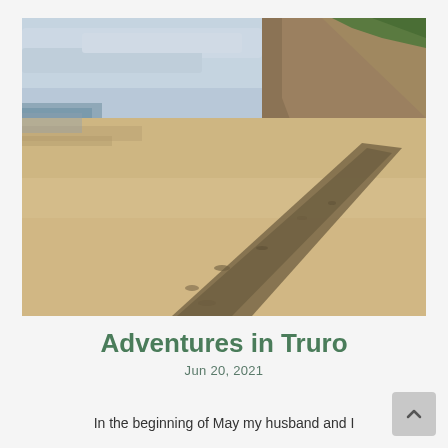[Figure (photo): A wide sandy beach stretching toward the horizon with a wave-line of pebbles/seaweed running diagonally. A tall sandy cliff or bluff rises on the right side, with some green vegetation at the top. The sky is overcast and grey-blue. The ocean is visible on the left in the distance.]
Adventures in Truro
Jun 20, 2021
In the beginning of May my husband and I